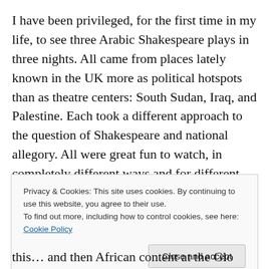I have been privileged, for the first time in my life, to see three Arabic Shakespeare plays in three nights. All came from places lately known in the UK more as political hotspots than as theatre centers: South Sudan, Iraq, and Palestine. Each took a different approach to the question of Shakespeare and national allegory. All were great fun to watch, in completely different ways and for different reasons. (Incidentally no one else is analytically lumping them together as “the Arabic plays” at the World Shakespeare Festival and Globe-to-Globe; only I’m doing
Privacy & Cookies: This site uses cookies. By continuing to use this website, you agree to their use.
To find out more, including how to control cookies, see here: Cookie Policy
Close and accept
this… and then African content at the Glo